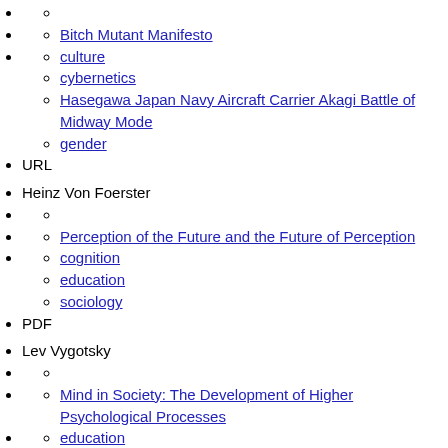(empty bullet with empty circle)
Bitch Mutant Manifesto
culture
cybernetics
Hasegawa Japan Navy Aircraft Carrier Akagi Battle of Midway Mode
gender
URL
Heinz Von Foerster
(empty bullet with empty circle)
Perception of the Future and the Future of Perception
cognition
education
sociology
PDF
Lev Vygotsky
(empty bullet with empty circle)
Mind in Society: The Development of Higher Psychological Processes
education
psychology
PDF